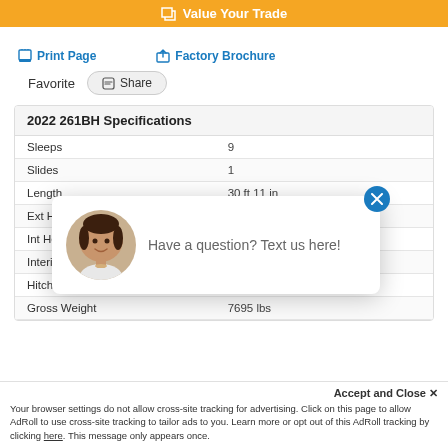Value Your Trade
Print Page
Factory Brochure
Favorite
Share
| 2022 261BH Specifications |  |
| --- | --- |
| Sleeps | 9 |
| Slides | 1 |
| Length | 30 ft 11 in |
| Ext Height |  |
| Int Height |  |
| Interior Color |  |
| Hitch Weight |  |
| Gross Weight | 7695 lbs |
[Figure (photo): Chat popup with woman avatar and text: Have a question? Text us here!]
Have a question? Text us here!
Accept and Close ✕
Your browser settings do not allow cross-site tracking for advertising. Click on this page to allow AdRoll to use cross-site tracking to tailor ads to you. Learn more or opt out of this AdRoll tracking by clicking here. This message only appears once.